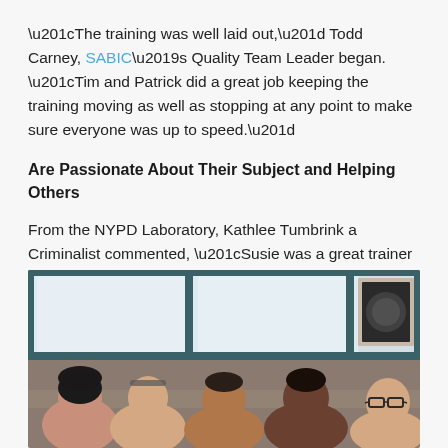“The training was well laid out,” Todd Carney, SABIC’s Quality Team Leader began. “Tim and Patrick did a great job keeping the training moving as well as stopping at any point to make sure everyone was up to speed.”
Are Passionate About Their Subject and Helping Others
From the NYPD Laboratory, Kathlee Tumbrink a Criminalist commented, “Susie was a great trainer and her enthusiasm about the product is contagious!”
[Figure (photo): Group photo of several people smiling, seated at a table near large windows with teal/dark green frames. A framed picture is visible on the wall in the upper right corner.]